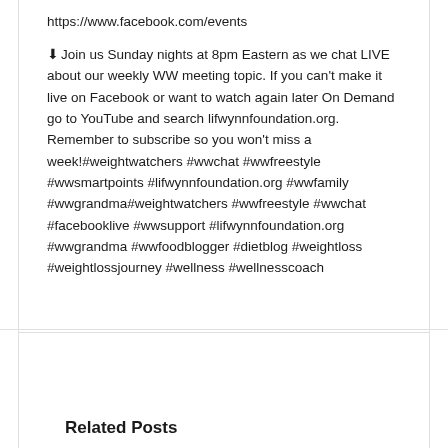https://www.facebook.com/events
⬇ Join us Sunday nights at 8pm Eastern as we chat LIVE about our weekly WW meeting topic. If you can't make it live on Facebook or want to watch again later On Demand go to YouTube and search lifwynnfoundation.org. Remember to subscribe so you won't miss a week!#weightwatchers #wwchat #wwfreestyle #wwsmartpoints #lifwynnfoundation.org #wwfamily #wwgrandma#weightwatchers #wwfreestyle #wwchat #facebooklive #wwsupport #lifwynnfoundation.org #wwgrandma #wwfoodblogger #dietblog #weightloss #weightlossjourney #wellness #wellnesscoach
Related Posts